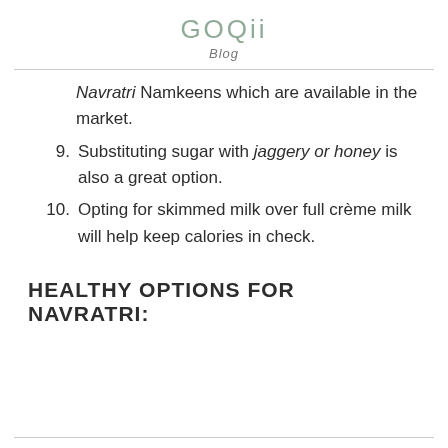GOQii Blog
Navratri Namkeens which are available in the market.
9. Substituting sugar with jaggery or honey is also a great option.
10. Opting for skimmed milk over full crème milk will help keep calories in check.
HEALTHY OPTIONS FOR NAVRATRI: